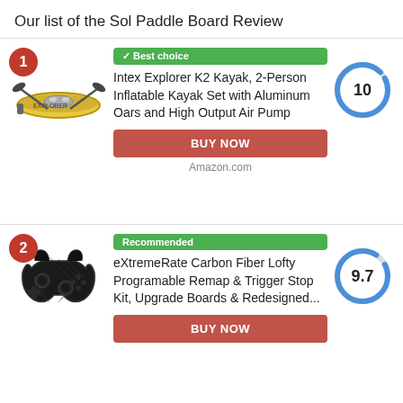Our list of the Sol Paddle Board Review
1. Best choice - Intex Explorer K2 Kayak, 2-Person Inflatable Kayak Set with Aluminum Oars and High Output Air Pump - Score: 10 - BUY NOW - Amazon.com
2. Recommended - eXtremeRate Carbon Fiber Lofty Programable Remap & Trigger Stop Kit, Upgrade Boards & Redesigned... - Score: 9.7 - BUY NOW